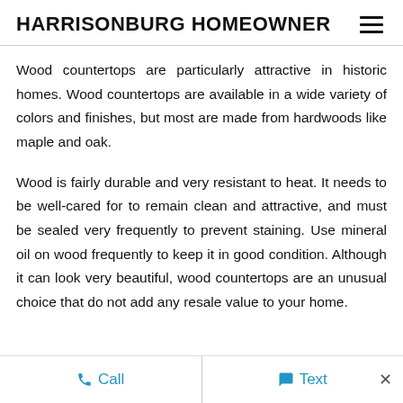HARRISONBURG HOMEOWNER
Wood countertops are particularly attractive in historic homes. Wood countertops are available in a wide variety of colors and finishes, but most are made from hardwoods like maple and oak.
Wood is fairly durable and very resistant to heat. It needs to be well-cared for to remain clean and attractive, and must be sealed very frequently to prevent staining. Use mineral oil on wood frequently to keep it in good condition. Although it can look very beautiful, wood countertops are an unusual choice that do not add any resale value to your home.
Call   Text